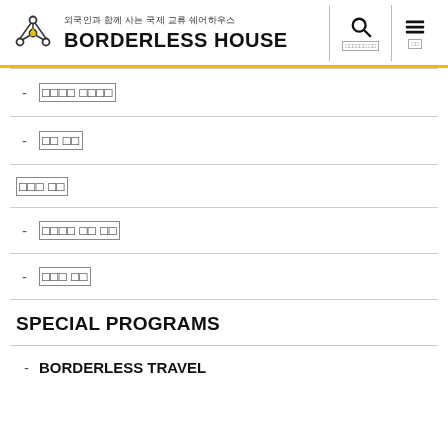외국인과 함께 사는 국제 교류 쉐어하우스 BORDERLESS HOUSE
- [Korean text]
- [Korean text]
[Korean text]
- [Korean text]
- [Korean text]
SPECIAL PROGRAMS
- BORDERLESS TRAVEL